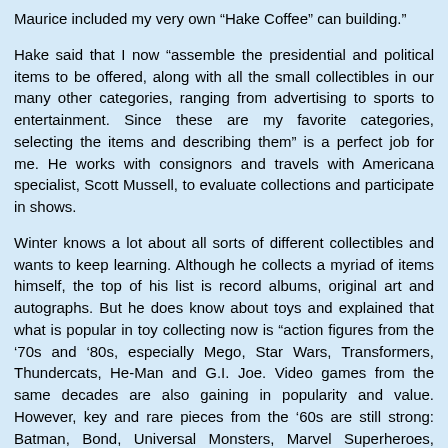Maurice included my very own “Hake Coffee” can building.”
Hake said that I now “assemble the presidential and political items to be offered, along with all the small collectibles in our many other categories, ranging from advertising to sports to entertainment. Since these are my favorite categories, selecting the items and describing them” is a perfect job for me. He works with consignors and travels with Americana specialist, Scott Mussell, to evaluate collections and participate in shows.
Winter knows a lot about all sorts of different collectibles and wants to keep learning. Although he collects a myriad of items himself, the top of his list is record albums, original art and autographs. But he does know about toys and explained that what is popular in toy collecting now is “action figures from the ‘70s and ‘80s, especially Mego, Star Wars, Transformers, Thundercats, He-Man and G.I. Joe. Video games from the same decades are also gaining in popularity and value. However, key and rare pieces from the ’60s are still strong: Batman, Bond, Universal Monsters, Marvel Superheroes, Aurora models and Hot Wheels.” He added, “Comic books, comic art and toys have all been embraced by investors as values continue to rise, especially on the rare and high-grade pieces.”
Toy collecting is still a male-dominated field, but Winter said, “I